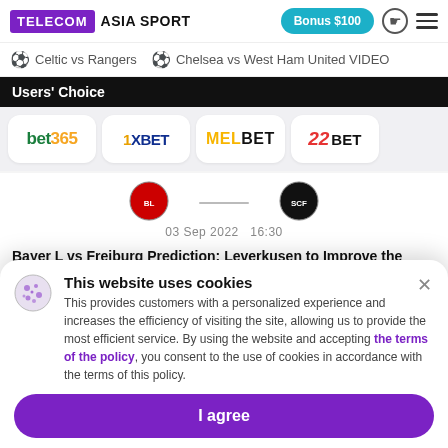TELECOM ASIA SPORT | Bonus $100
Celtic vs Rangers
Chelsea vs West Ham United VIDEO
Users' Choice
[Figure (logo): bet365 logo]
[Figure (logo): 1XBET logo]
[Figure (logo): MELBET logo]
[Figure (logo): 22BET logo]
03 Sep 2022   16:30
Bayer L vs Freiburg Prediction: Leverkusen to Improve the Tournament Placing
Natalia Okina
This website uses cookies
This provides customers with a personalized experience and increases the efficiency of visiting the site, allowing us to provide the most efficient service. By using the website and accepting the terms of the policy, you consent to the use of cookies in accordance with the terms of this policy.
I agree